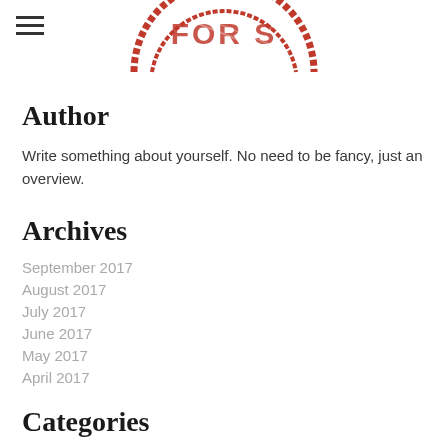[Figure (logo): Partial red stamp/seal image showing text 'FOR S...' cropped at top of page]
Author
Write something about yourself. No need to be fancy, just an overview.
Archives
September 2017
August 2017
July 2017
June 2017
May 2017
April 2017
Categories
All